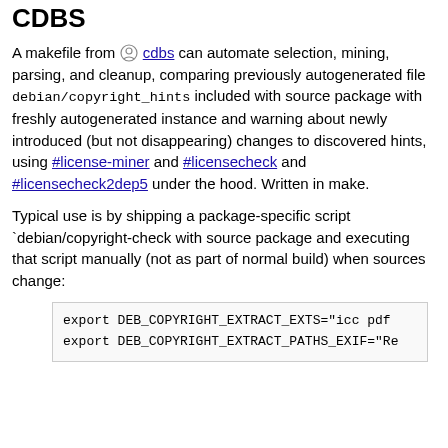CDBS
A makefile from cdbs can automate selection, mining, parsing, and cleanup, comparing previously autogenerated file debian/copyright_hints included with source package with freshly autogenerated instance and warning about newly introduced (but not disappearing) changes to discovered hints, using #license-miner and #licensecheck and #licensecheck2dep5 under the hood. Written in make.
Typical use is by shipping a package-specific script `debian/copyright-check with source package and executing that script manually (not as part of normal build) when sources change:
export DEB_COPYRIGHT_EXTRACT_EXTS="icc pdf
export DEB_COPYRIGHT_EXTRACT_PATHS_EXIF="Re